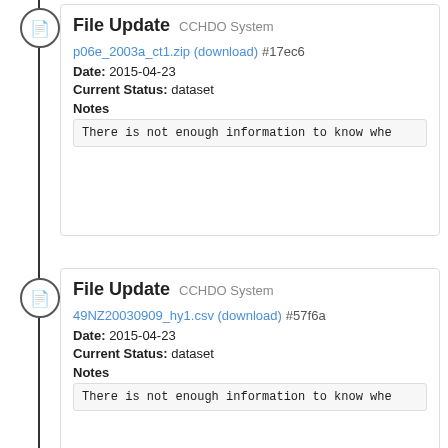File Update CCHDO System
p06e_2003a_ct1.zip (download) #17ec6
Date: 2015-04-23
Current Status: dataset
Notes
There is not enough information to know whe
File Update CCHDO System
49NZ20030909_hy1.csv (download) #57f6a
Date: 2015-04-23
Current Status: dataset
Notes
There is not enough information to know whe